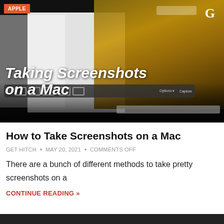[Figure (screenshot): Hero image for article about taking screenshots on a Mac. Shows a Mac screenshot interface overlaid on a dark background with a person in a yellow sweater. Text overlay reads 'Taking Screenshots on a Mac'. Orange 'APPLE' tag in top-left corner.]
How to Take Screenshots on a Mac
GET HITCH • MAY 20, 2021 • COMMENTS OFF
There are a bunch of different methods to take pretty screenshots on a
CONTINUE READING »